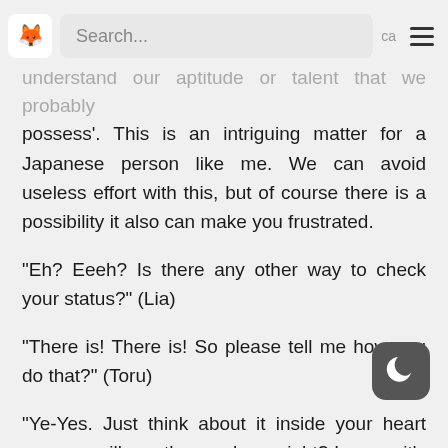Search...
understand our aptitude or talent that we probably possess'. This is an intriguing matter for a Japanese person like me. We can avoid useless effort with this, but of course there is a possibility it also can make you frustrated.
“Eh? Eeeh? Is there any other way to check your status?” (Lia)
“There is! There is! So please tell me how you do that?” (Toru)
“Ye-Yes. Just think about it inside your heart and you will see the numbers, right? I mean, it’s a providence made by God who created this world…” (Lia)